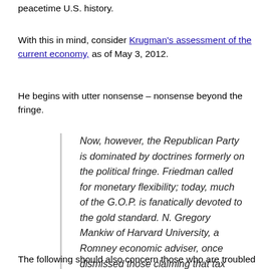peacetime U.S. history.
With this in mind, consider Krugman's assessment of the current economy, as of May 3, 2012.
He begins with utter nonsense – nonsense beyond the fringe.
Now, however, the Republican Party is dominated by doctrines formerly on the political fringe. Friedman called for monetary flexibility; today, much of the G.O.P. is fanatically devoted to the gold standard. N. Gregory Mankiw of Harvard University, a Romney economic adviser, once dismissed those claiming that tax cuts pay for themselves as “charlatans and cranks”; today, that notion is very close to being official Republican doctrine.
The following should concern those who are troubled by...